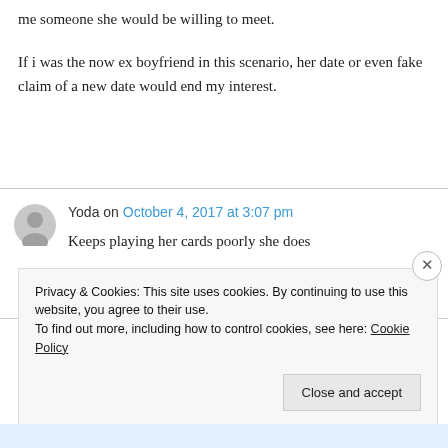me someone she would be willing to meet.
If i was the now ex boyfriend in this scenario, her date or even fake claim of a new date would end my interest.
Yoda on October 4, 2017 at 3:07 pm
Keeps playing her cards poorly she does
Privacy & Cookies: This site uses cookies. By continuing to use this website, you agree to their use.
To find out more, including how to control cookies, see here: Cookie Policy